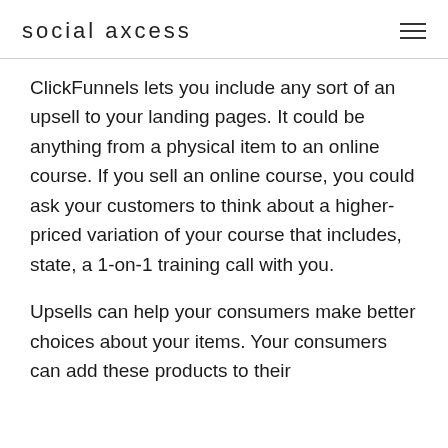social axcess
ClickFunnels lets you include any sort of an upsell to your landing pages. It could be anything from a physical item to an online course. If you sell an online course, you could ask your customers to think about a higher-priced variation of your course that includes, state, a 1-on-1 training call with you.
Upsells can help your consumers make better choices about your items. Your consumers can add these products to their